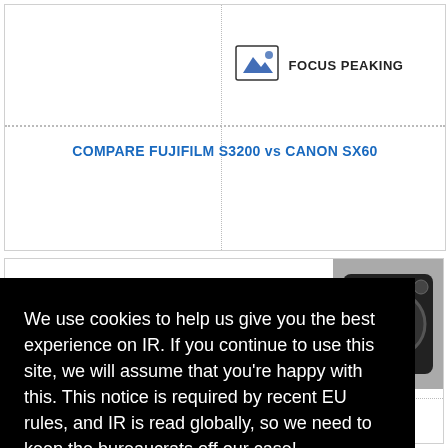[Figure (other): Focus peaking icon: landscape/mountain image icon with dotted border]
FOCUS PEAKING
COMPARE FUJIFILM S3200 vs CANON SX60
[Figure (photo): Camera body photo (partial, right side)]
We use cookies to help us give you the best experience on IR. If you continue to use this site, we will assume that you're happy with this. This notice is required by recent EU rules, and IR is read globally, so we need to keep the bureaucrats off our case!
Learn more
Got it!
[Figure (other): In-camera icon]
IN-CAMERA
[Figure (other): Slow motion / video icon]
SLOWER SLOW-